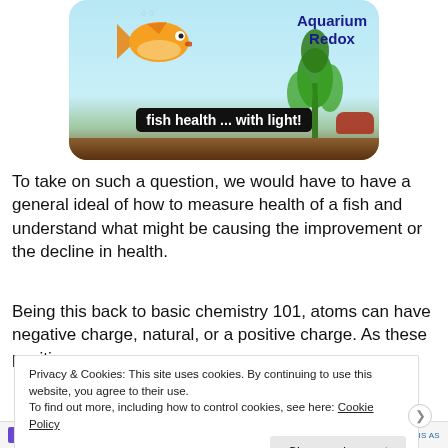[Figure (illustration): Cartoon aquarium image showing an orange goldfish with bubbles, green aquatic plant, and a brown substrate. Text overlay reads 'Aquarium Redox' in bold dark blue, and 'fish health ... with light!' in white on black bar at bottom.]
To take on such a question, we would have to have a general ideal of how to measure health of a fish and understand what might be causing the improvement or the decline in health.
Being this back to basic chemistry 101, atoms can have negative charge, natural, or a positive charge. As these positive
Privacy & Cookies: This site uses cookies. By continuing to use this website, you agree to their use.
To find out more, including how to control cookies, see here: Cookie Policy
Close and accept